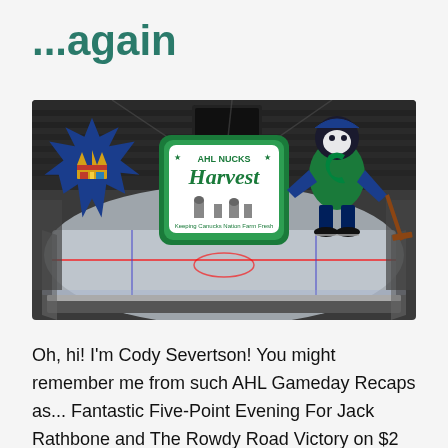...again
[Figure (photo): Hockey arena interior (empty seats, ice rink) with three overlaid logos: Toronto Marlies maple leaf crown logo on the left, AHL Nucks Harvest logo in the center, and Vancouver Canucks retro skate mascot logo on the right.]
Oh, hi! I'm Cody Severtson! You might remember me from such AHL Gameday Recaps as... Fantastic Five-Point Evening For Jack Rathbone and The Rowdy Road Victory on $2 Beer Night! A lot happened on the Farm since our last check-in, so